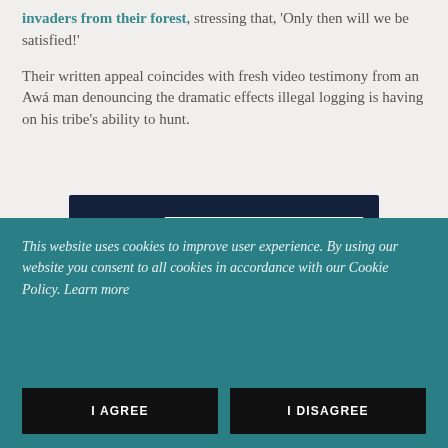invaders from their forest, stressing that, 'Only then will we be satisfied!'
Their written appeal coincides with fresh video testimony from an Awá man denouncing the dramatic effects illegal logging is having on his tribe's ability to hunt.
[Figure (screenshot): A CAPTCHA widget on a dark navy background showing a checkbox and the text 'I'm not a robot', with decorative wave shapes at the bottom.]
This website uses cookies to improve user experience. By using our website you consent to all cookies in accordance with our Cookie Policy. Learn more
I AGREE
I DISAGREE